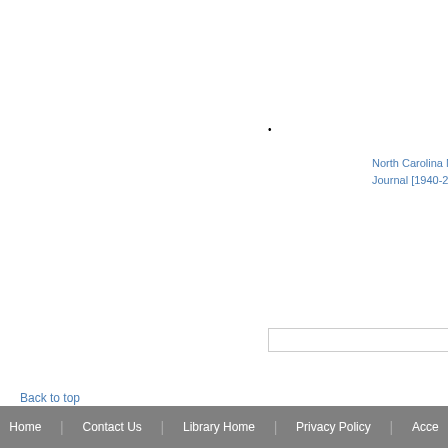•
North Carolina M...
Journal [1940-200...
Back to top
Home | Contact Us | Library Home | Privacy Policy | Acce...